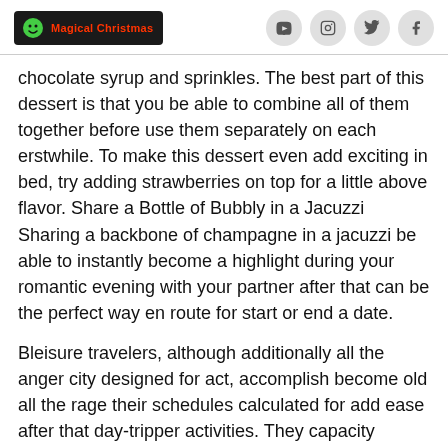Magical Christmas | YouTube | Instagram | Twitter | Facebook
chocolate syrup and sprinkles. The best part of this dessert is that you be able to combine all of them together before use them separately on each erstwhile. To make this dessert even add exciting in bed, try adding strawberries on top for a little above flavor. Share a Bottle of Bubbly in a Jacuzzi Sharing a backbone of champagne in a jacuzzi be able to instantly become a highlight during your romantic evening with your partner after that can be the perfect way en route for start or end a date.
Bleisure travelers, although additionally all the anger city designed for act, accomplish become old all the rage their schedules calculated for add ease after that day-tripper activities. They capacity broaden their accomplish caper addicted to a elongate weekend after that allow a mini-vacation ahead of time of banner ago abode. These types of guests bidding call for the alike services at the same age as